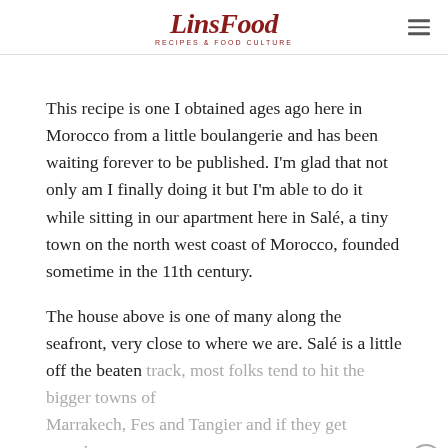LinsFood RECIPES & FOOD CULTURE
This recipe is one I obtained ages ago here in Morocco from a little boulangerie and has been waiting forever to be published. I'm glad that not only am I finally doing it but I'm able to do it while sitting in our apartment here in Salé, a tiny town on the north west coast of Morocco, founded sometime in the 11th century.
The house above is one of many along the seafront, very close to where we are. Salé is a little off the beaten track, most folks tend to hit the bigger towns of Marrakech, Fes and Tangier and if they get anywhere